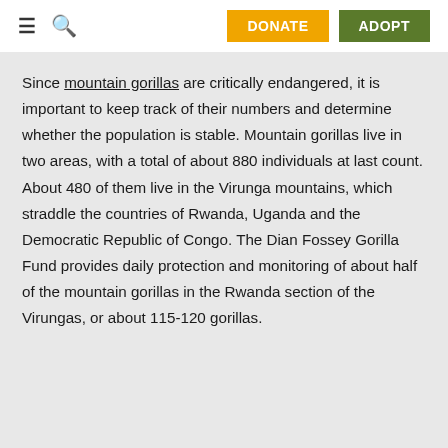≡ 🔍 DONATE ADOPT
Since mountain gorillas are critically endangered, it is important to keep track of their numbers and determine whether the population is stable. Mountain gorillas live in two areas, with a total of about 880 individuals at last count. About 480 of them live in the Virunga mountains, which straddle the countries of Rwanda, Uganda and the Democratic Republic of Congo. The Dian Fossey Gorilla Fund provides daily protection and monitoring of about half of the mountain gorillas in the Rwanda section of the Virungas, or about 115-120 gorillas.